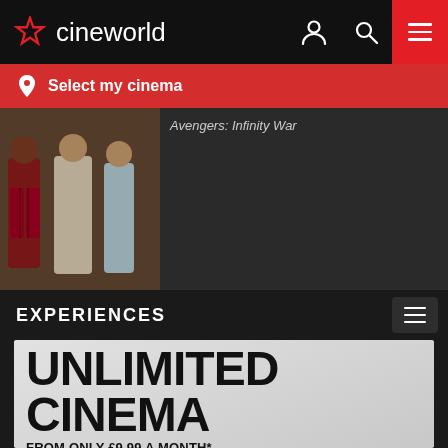cineworld
Select my cinema
[Figure (photo): Movie still from Avengers: Infinity War showing three women standing outdoors]
Avengers: Infinity War
EXPERIENCES
[Figure (infographic): Unlimited Cinema promotion banner: UNLIMITED CINEMA FROM ONLY £9.99 A MONTH* PLUS A FREE TASTECARD*]